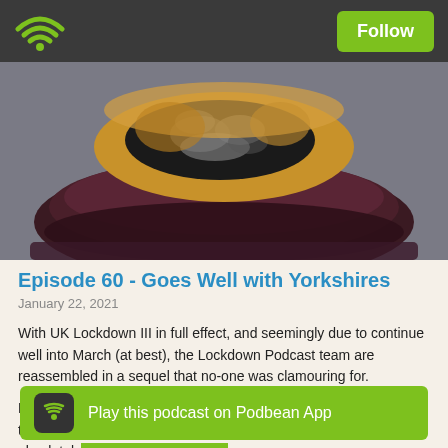Follow
[Figure (photo): Close-up photo of what appears to be a Yorkshire pudding or baked pastry with dark filling, on a dark background.]
Episode 60 - Goes Well with Yorkshires
January 22, 2021
With UK Lockdown III in full effect, and seemingly due to continue well into March (at best), the Lockdown Podcast team are reassembled in a sequel that no-one was clamouring for.
Fear not however - in the 6 weeks since December 11th (when the last Lockd... joined absolutely... lockdown worth sharing and on this landmark 60th...
Play this podcast on Podbean App